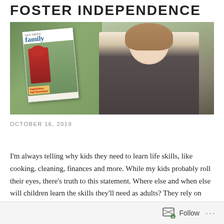FOSTER INDEPENDENCE
[Figure (photo): Woman smiling and holding up a San Diego Family magazine cover featuring a child in a Spider-Man costume. The magazine headline reads 'FaBOOlous Fall Festivities!' The woman is outdoors in a green setting.]
OCTOBER 16, 2019
I'm always telling why kids they need to learn life skills, like cooking, cleaning, finances and more. While my kids probably roll their eyes, there's truth to this statement. Where else and when else will children learn the skills they'll need as adults? They rely on their parents, teachers and other adults now to help them develop skills they'll